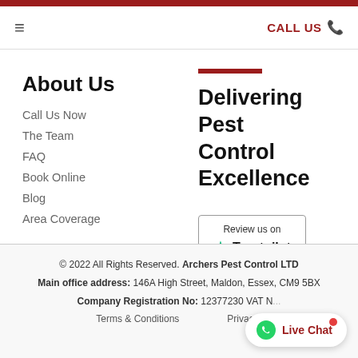☰   CALL US 📞
About Us
Call Us Now
The Team
FAQ
Book Online
Blog
Area Coverage
Delivering Pest Control Excellence
[Figure (logo): Trustpilot review badge with green star and text 'Review us on Trustpilot']
© 2022 All Rights Reserved. Archers Pest Control LTD
Main office address: 146A High Street, Maldon, Essex, CM9 5BX
Company Registration No: 12377230 VAT N...
Terms & Conditions    Privacy...